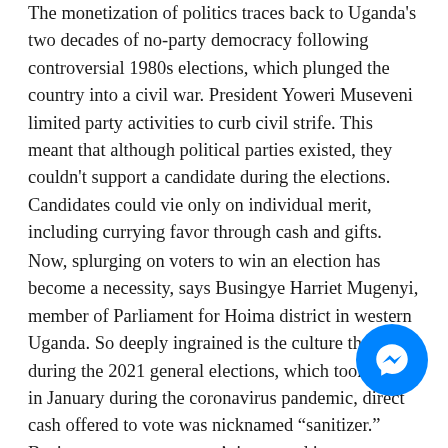The monetization of politics traces back to Uganda's two decades of no-party democracy following controversial 1980s elections, which plunged the country into a civil war. President Yoweri Museveni limited party activities to curb civil strife. This meant that although political parties existed, they couldn't support a candidate during the elections. Candidates could vie only on individual merit, including currying favor through cash and gifts.
Now, splurging on voters to win an election has become a necessity, says Busingye Harriet Mugenyi, member of Parliament for Hoima district in western Uganda. So deeply ingrained is the culture that during the 2021 general elections, which took place in January during the coronavirus pandemic, direct cash offered to vote was nicknamed “sanitizer.”
Busingye says voters aren’t interested in a candidate’s qualifications. What matters to them, she says, is the
[Figure (other): Facebook Messenger chat button icon — circular blue button with white lightning bolt / messenger logo]